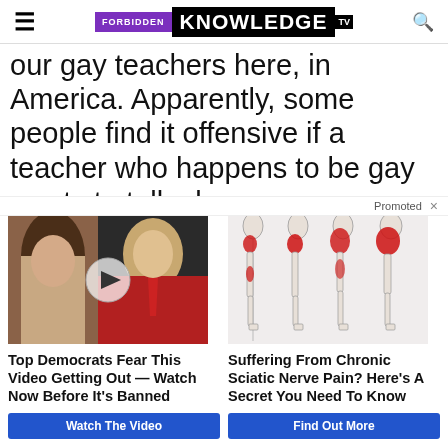FORBIDDEN KNOWLEDGE TV
our gay teachers here, in America. Apparently, some people find it offensive if a teacher who happens to be gay wants to talk ab... ay
Promoted ×
[Figure (photo): Photo of two people with a video play button overlay - Top Democrats Fear This Video Getting Out ad]
Top Democrats Fear This Video Getting Out — Watch Now Before It's Banned
Watch The Video
[Figure (illustration): Medical illustration showing human legs with highlighted areas of sciatic nerve pain in red]
Suffering From Chronic Sciatic Nerve Pain? Here's A Secret You Need To Know
Find Out More